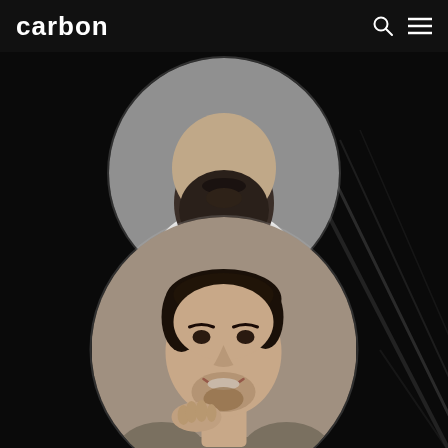carbon
[Figure (photo): Black and white circular cropped photo of a bearded man in a white t-shirt, upper chest and beard visible, head partially cut off at top]
[Figure (photo): Black and white circular cropped photo of a young smiling man with beard holding his chin thoughtfully, wearing a sweater]